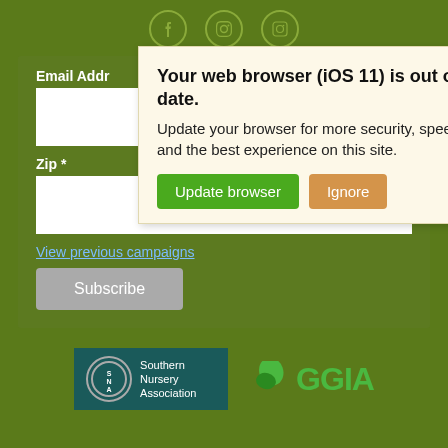[Figure (screenshot): Social media icon links: Facebook, Pinterest, Instagram in circular outlines on green background]
[Figure (screenshot): Browser update modal overlay with title 'Your web browser (iOS 11) is out of date.' and body text 'Update your browser for more security, speed and the best experience on this site.' with two buttons: 'Update browser' (green) and 'Ignore' (orange)]
Email Addr
ired
Zip *
View previous campaigns
Subscribe
[Figure (logo): Southern Nursery Association logo - teal circle with SNA initials and organization name text]
[Figure (logo): GGIA logo with green leaf and bold GGIA text]